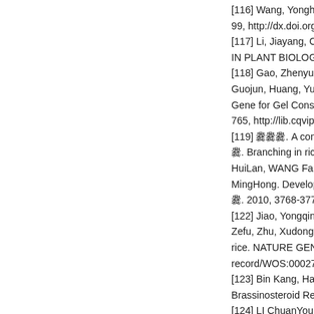[116] Wang, Yonghong, Li, Jiayan... 99, http://dx.doi.org/10.1016/j.pbi...
[117] Li, Jiayang, Chua, NamHai... IN PLANT BIOLOGYnull. 2011, 1...
[118] Gao, Zhenyu, Zeng, Dali, C... Guojun, Huang, Yuchen, Han, Bi... Gene for Gel Consistency in Rice... 765, http://lib.cqvip.com/Qikan/Ar...
[119] 爨爨爨. A comprehensive under... 爨. Branching in rice. Curr Opin Pl... HuiLan, WANG Fang, XU JieFen... MingHong. Development of gene-... 爨. 2010, 3768-3777, http://lib.cqvi...
[122] Jiao, Yongqing, Wang, Yong... Zefu, Zhu, Xudong, Qian, Qian, L... rice. NATURE GENETICS[J]. 201... record/WOS:000278081500022.
[123] Bin Kang, Hao Wang, Kyou... Brassinosteroid Receptor Mutant.
[124] LI ChuanYou LI JiaYang. To... introduction to the Major Researc... Natural Science Foundation of Ch...